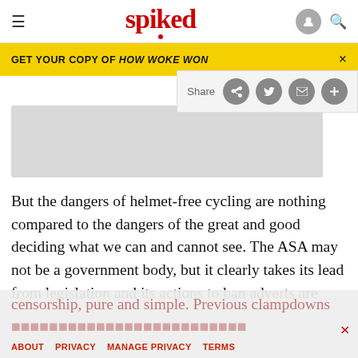spiked
[Figure (screenshot): Yellow promotional banner reading GET YOUR COPY OF HOW WOKE WON with close button]
[Figure (screenshot): Share bar with Facebook, Twitter, email and plus buttons]
[Figure (photo): Article image placeholder (grey rectangle)]
But the dangers of helmet-free cycling are nothing compared to the dangers of the great and good deciding what we can and cannot see. The ASA may not be a government body, but it clearly takes its lead from legislation and its actions to ban adverts are
censorship, pure and simple. Previous clampdowns
ABOUT   PRIVACY   MANAGE PRIVACY   TERMS